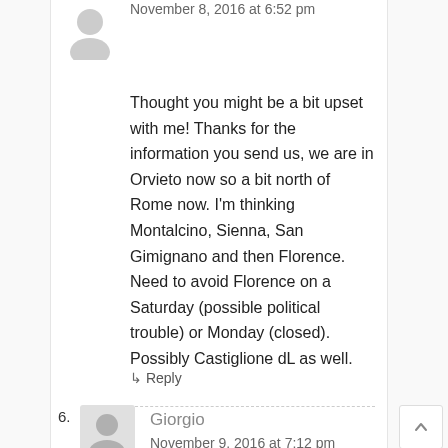November 8, 2016 at 6:52 pm
Thought you might be a bit upset with me! Thanks for the information you send us, we are in Orvieto now so a bit north of Rome now. I'm thinking Montalcino, Sienna, San Gimignano and then Florence. Need to avoid Florence on a Saturday (possible political trouble) or Monday (closed). Possibly Castiglione dL as well.
↳ Reply
6.
Giorgio
November 9, 2016 at 7:12 pm